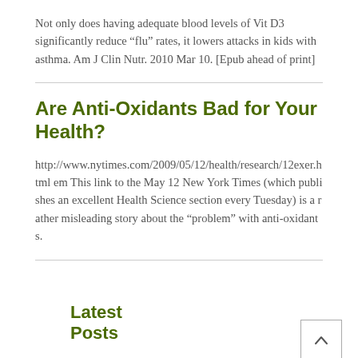Not only does having adequate blood levels of Vit D3 significantly reduce “flu” rates, it lowers attacks in kids with asthma. Am J Clin Nutr. 2010 Mar 10. [Epub ahead of print]
Are Anti-Oxidants Bad for Your Health?
http://www.nytimes.com/2009/05/12/health/research/12exer.html em This link to the May 12 New York Times (which publishes an excellent Health Science section every Tuesday) is a rather misleading story about the “problem” with anti-oxidants.
Latest Posts